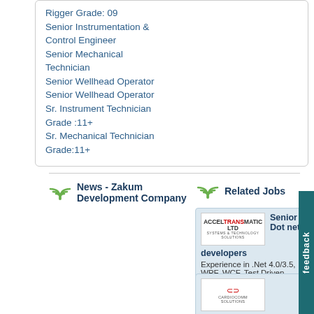Rigger Grade: 09
Senior Instrumentation & Control Engineer
Senior Mechanical Technician
Senior Wellhead Operator
Senior Wellhead Operator
Sr. Instrument Technician Grade :11+
Sr. Mechanical Technician Grade:11+
News - Zakum Development Company
Related Jobs
Senior Dot net developers
Experience in .Net 4.0/3.5, WPF, WCF, Test Driven develo ...
Software Developers
As a senior